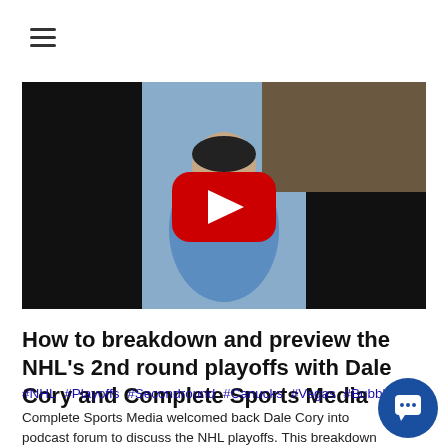[Figure (screenshot): Hamburger menu icon (three horizontal lines) in top left]
[Figure (screenshot): YouTube video thumbnail showing a man in a blue shirt with a bookshelf in the background, with a red YouTube play button overlay]
How to breakdown and preview the NHL's 2nd round playoffs with Dale Cory and Complete Sports Media
#NHL #Playoffs #Secondround #Canucks #Vegas #Bubble
Complete Sports Media welcomed back Dale Cory into podcast forum to discuss the NHL playoffs. This breakdown comes just as we have started the second round of the NHL